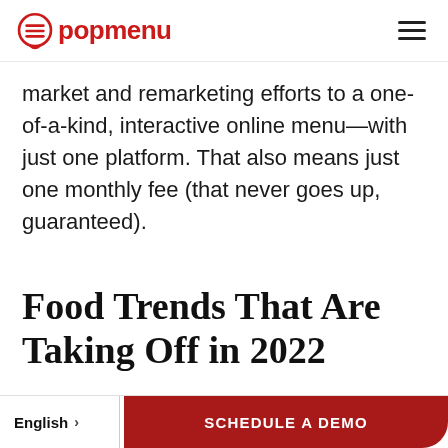popmenu
market and remarketing efforts to a one-of-a-kind, interactive online menu—with just one platform. That also means just one monthly fee (that never goes up, guaranteed).
Food Trends That Are Taking Off in 2022
English  SCHEDULE A DEMO